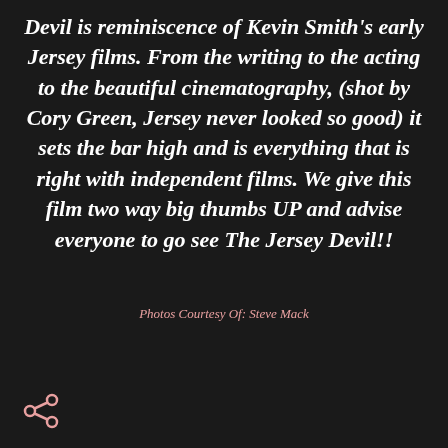Devil is reminiscence of Kevin Smith's early Jersey films. From the writing to the acting to the beautiful cinematography, (shot by Cory Green, Jersey never looked so good) it sets the bar high and is everything that is right with independent films. We give this film two way big thumbs UP and advise everyone to go see The Jersey Devil!!
Photos Courtesy Of: Steve Mack